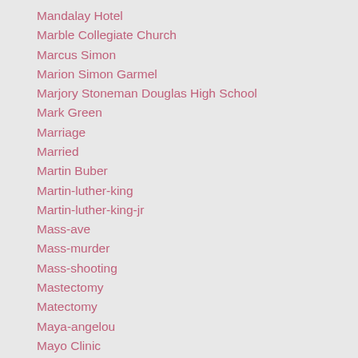Mandalay Hotel
Marble Collegiate Church
Marcus Simon
Marion Simon Garmel
Marjory Stoneman Douglas High School
Mark Green
Marriage
Married
Martin Buber
Martin-luther-king
Martin-luther-king-jr
Mass-ave
Mass-murder
Mass-shooting
Mastectomy
Matectomy
Maya-angelou
Mayo Clinic
MBC